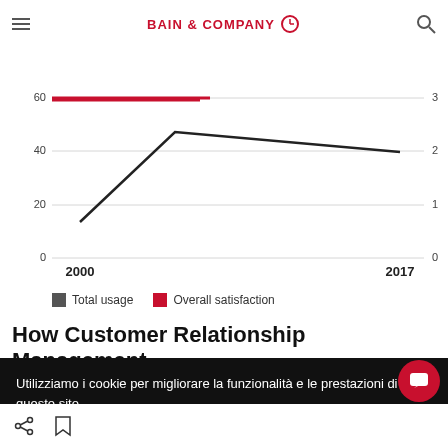BAIN & COMPANY
[Figure (line-chart): Total usage and Overall satisfaction over time]
Total usage    Overall satisfaction
How Customer Relationship Management
Utilizziamo i cookie per migliorare la funzionalità e le prestazioni di questo sito.
ACCETTA TUTTI I COOKIE